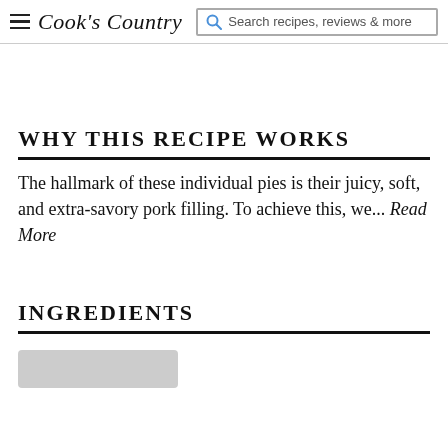Cook's Country | Search recipes, reviews & more
WHY THIS RECIPE WORKS
The hallmark of these individual pies is their juicy, soft, and extra-savory pork filling. To achieve this, we... Read More
INGREDIENTS